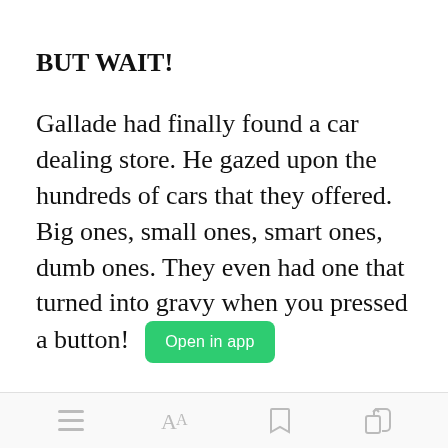BUT WAIT!
Gallade had finally found a car dealing store. He gazed upon the hundreds of cars that they offered. Big ones, small ones, smart ones, dumb ones. They even had one that turned into gravy when you pressed a button!
[toolbar icons: menu, font, bookmark, share]